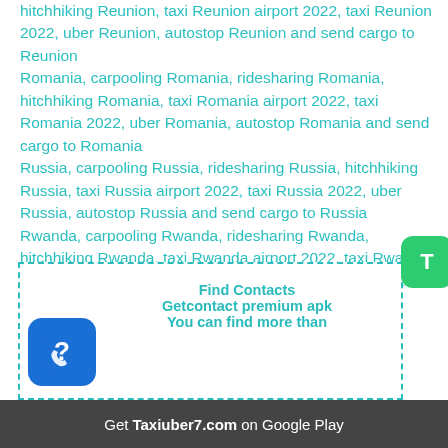hitchhiking Reunion, taxi Reunion airport 2022, taxi Reunion 2022, uber Reunion, autostop Reunion and send cargo to Reunion
Romania, carpooling Romania, ridesharing Romania, hitchhiking Romania, taxi Romania airport 2022, taxi Romania 2022, uber Romania, autostop Romania and send cargo to Romania
Russia, carpooling Russia, ridesharing Russia, hitchhiking Russia, taxi Russia airport 2022, taxi Russia 2022, uber Russia, autostop Russia and send cargo to Russia
Rwanda, carpooling Rwanda, ridesharing Rwanda, hitchhiking Rwanda, taxi Rwanda airport 2022, taxi Rwanda 2022, uber Rwanda, autostop Rwanda and send cargo to Rwanda
S
[Figure (infographic): Advertisement box with dashed border containing Find Contacts / Getcontact premium apk / You can find more than text, a phone/question mark icon on the left, and a T button on the right.]
Get Taxiuber7.com on Google Play